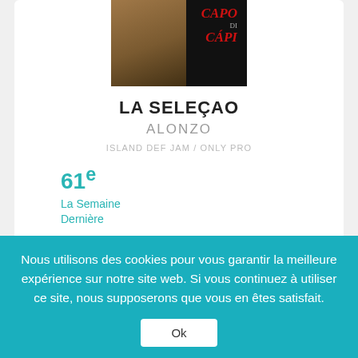[Figure (photo): Album cover for LA SELEÇAO by Alonzo, dark background with CAPO DI CAPI text in red]
LA SELEÇAO
ALONZO
ISLAND DEF JAM / ONLY PRO
61e La Semaine Dernière
[Figure (logo): Deezer and Apple Music streaming icons]
64
Nous utilisons des cookies pour vous garantir la meilleure expérience sur notre site web. Si vous continuez à utiliser ce site, nous supposerons que vous en êtes satisfait.